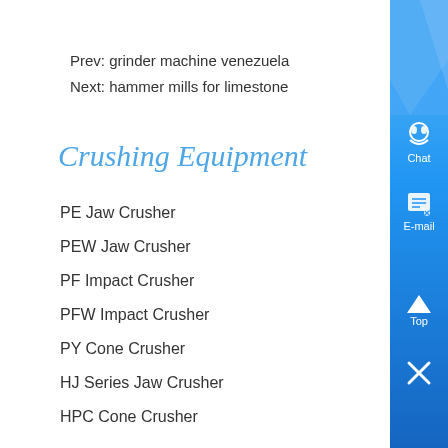Prev: grinder machine venezuela
Next: hammer mills for limestone
Crushing Equipment
PE Jaw Crusher
PEW Jaw Crusher
PF Impact Crusher
PFW Impact Crusher
PY Cone Crusher
HJ Series Jaw Crusher
HPC Cone Crusher